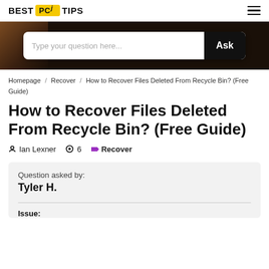BEST PC TIPS
[Figure (screenshot): Hero banner with dark background and a search box reading 'Type your question here...' with an 'Ask' button]
Homepage / Recover / How to Recover Files Deleted From Recycle Bin? (Free Guide)
How to Recover Files Deleted From Recycle Bin? (Free Guide)
Ian Lexner   6   Recover
Question asked by:
Tyler H.

Issue: